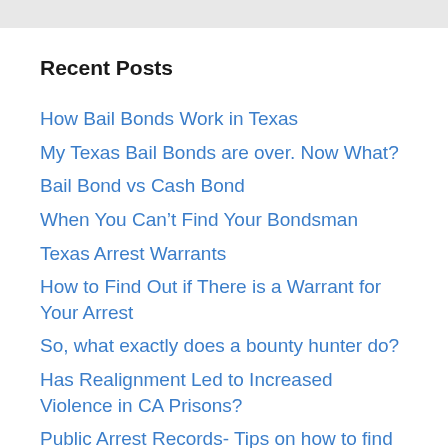Recent Posts
How Bail Bonds Work in Texas
My Texas Bail Bonds are over. Now What?
Bail Bond vs Cash Bond
When You Can’t Find Your Bondsman
Texas Arrest Warrants
How to Find Out if There is a Warrant for Your Arrest
So, what exactly does a bounty hunter do?
Has Realignment Led to Increased Violence in CA Prisons?
Public Arrest Records- Tips on how to find Reliable Records